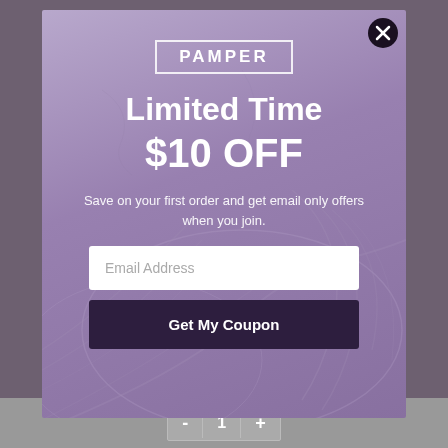[Figure (screenshot): Pamper brand promotional popup modal with purple background featuring artistic hand illustration. Contains logo, promotional headline, email signup form and CTA button.]
PAMPER
Limited Time $10 OFF
Save on your first order and get email only offers when you join.
Email Address
Get My Coupon